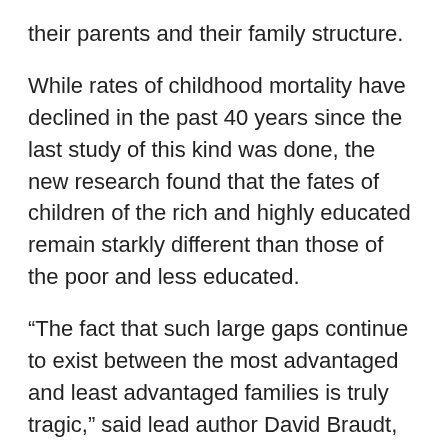their parents and their family structure.
While rates of childhood mortality have declined in the past 40 years since the last study of this kind was done, the new research found that the fates of children of the rich and highly educated remain starkly different than those of the poor and less educated.
“The fact that such large gaps continue to exist between the most advantaged and least advantaged families is truly tragic,” said lead author David Braudt, who earned his PhD from UNC in July, and in August will become a postdoctoral fellow at CU Boulder’s Institute for Behavioral Science (IBS).
A tragic gap
In all, the study found, 15% of children live with a mother who did not complete high school, 12% live with a father who did not complete high school, 25% live in households